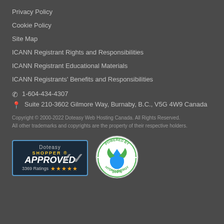Privacy Policy
Cookie Policy
Site Map
ICANN Registrant Rights and Responsibilities
ICANN Registrant Educational Materials
ICANN Registrants' Benefits and Responsibilities
1-604-434-4307
Suite 210-3602 Gilmore Way, Burnaby, B.C., V5G 4W9 Canada
Copyright © 2000-2022 Doteasy Web Hosting Canada. All Rights Reserved.
All other trademarks and copyrights are the property of their respective holders.
[Figure (logo): Doteasy Shopper Approved badge with 3369 ratings and 5 stars]
[Figure (logo): Powered by 100% Hydro Energy circular badge with water drop]